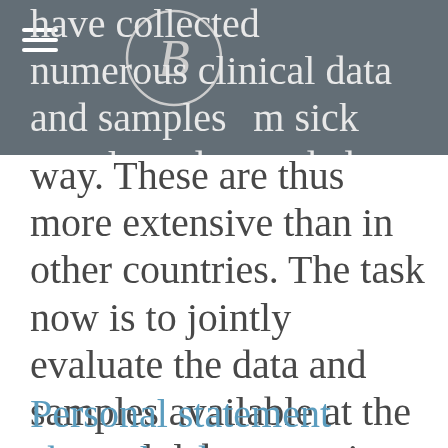have collected numerous clinical data and samples from sick people and recorded them in a structured
way. These are thus more extensive than in other countries. The task now is to jointly evaluate the data and samples available at the research laboratory in Wuhan. Because these have got enormous potential to provide important insights into the coronavirus. The information gained, in turn, also benefits German patients.
Personal statement about the donation amount of Befeni